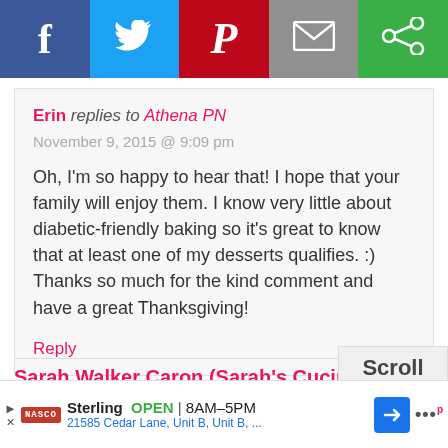[Figure (screenshot): Social media share buttons bar: Facebook (blue), Twitter (light blue), Pinterest (red), Email (gray), Other (green)]
Erin replies to Athena PN
November 9, 2015 @ 9:09 pm

Oh, I'm so happy to hear that! I hope that your family will enjoy them. I know very little about diabetic-friendly baking so it's great to know that at least one of my desserts qualifies. :) Thanks so much for the kind comment and have a great Thanksgiving!

Reply
Sarah Walker Caron (Sarah's Cucina
[Figure (screenshot): Scroll to top button box]
Sterling  OPEN  8AM–5PM
21585 Cedar Lane, Unit B, Unit B, ...